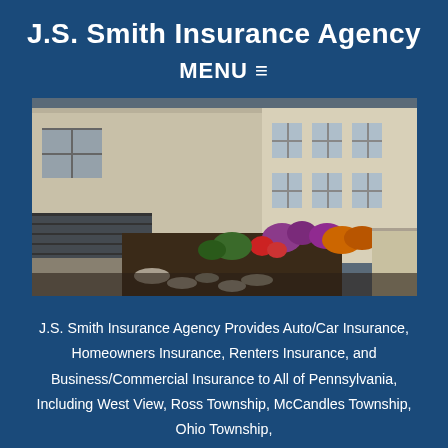J.S. Smith Insurance Agency
MENU ☰
[Figure (photo): Exterior photo of an insurance agency building with landscaping including flower beds with colorful flowers and decorative rocks, driveway visible on the right side.]
J.S. Smith Insurance Agency Provides Auto/Car Insurance, Homeowners Insurance, Renters Insurance, and Business/Commercial Insurance to All of Pennsylvania, Including West View, Ross Township, McCandles Township, Ohio Township,